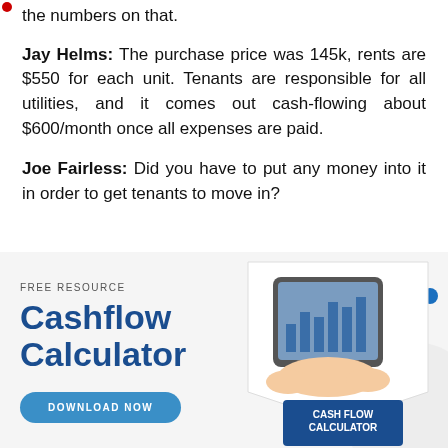the numbers on that.
Jay Helms: The purchase price was 145k, rents are $550 for each unit. Tenants are responsible for all utilities, and it comes out cash-flowing about $600/month once all expenses are paid.
Joe Fairless: Did you have to put any money into it in order to get tenants to move in?
[Figure (infographic): Advertisement banner for a Free Resource: Cashflow Calculator with a Download Now button and an image of hands using a tablet with a Cash Flow Calculator booklet.]